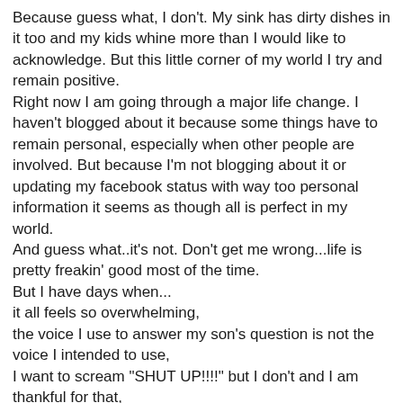Because guess what, I don't. My sink has dirty dishes in it too and my kids whine more than I would like to acknowledge. But this little corner of my world I try and remain positive.
Right now I am going through a major life change. I haven't blogged about it because some things have to remain personal, especially when other people are involved. But because I'm not blogging about it or updating my facebook status with way too personal information it seems as though all is perfect in my world.
And guess what..it's not. Don't get me wrong...life is pretty freakin' good most of the time.
But I have days when...
it all feels so overwhelming,
the voice I use to answer my son's question is not the voice I intended to use,
I want to scream "SHUT UP!!!!" but I don't and I am thankful for that,
I cry into the carpet in child's pose,
I go to bed at 10pm because I am exhausted.
My life isn't perfect.